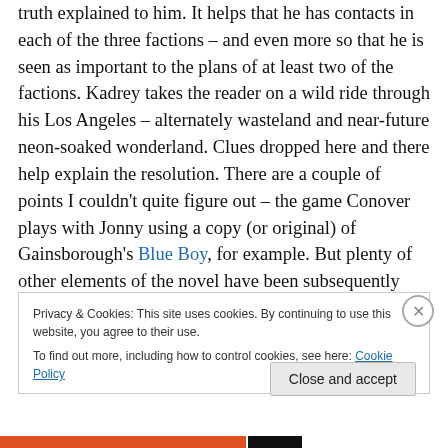truth explained to him. It helps that he has contacts in each of the three factions – and even more so that he is seen as important to the plans of at least two of the factions. Kadrey takes the reader on a wild ride through his Los Angeles – alternately wasteland and near-future neon-soaked wonderland. Clues dropped here and there help explain the resolution. There are a couple of points I couldn't quite figure out – the game Conover plays with Jonny using a copy (or original) of Gainsborough's Blue Boy, for example. But plenty of other elements of the novel have been subsequently become well-known tropes in the
Privacy & Cookies: This site uses cookies. By continuing to use this website, you agree to their use.
To find out more, including how to control cookies, see here: Cookie Policy